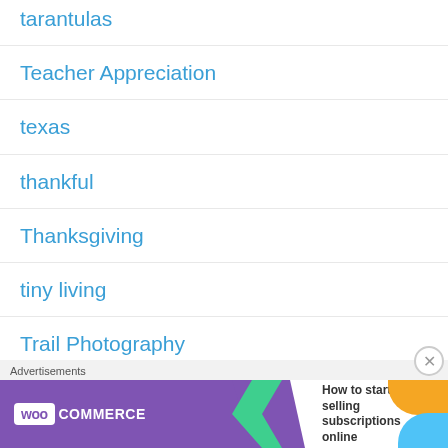tarantulas
Teacher Appreciation
texas
thankful
Thanksgiving
tiny living
Trail Photography
Train
Advertisements
[Figure (other): WooCommerce advertisement banner: 'How to start selling subscriptions online']